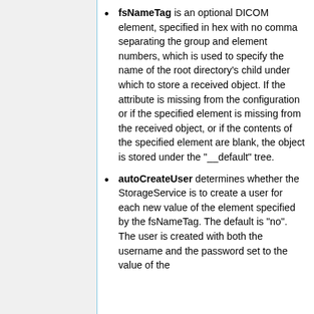fsNameTag is an optional DICOM element, specified in hex with no comma separating the group and element numbers, which is used to specify the name of the root directory's child under which to store a received object. If the attribute is missing from the configuration or if the specified element is missing from the received object, or if the contents of the specified element are blank, the object is stored under the "__default" tree.
autoCreateUser determines whether the StorageService is to create a user for each new value of the element specified by the fsNameTag. The default is "no". The user is created with both the username and the password set to the value of the